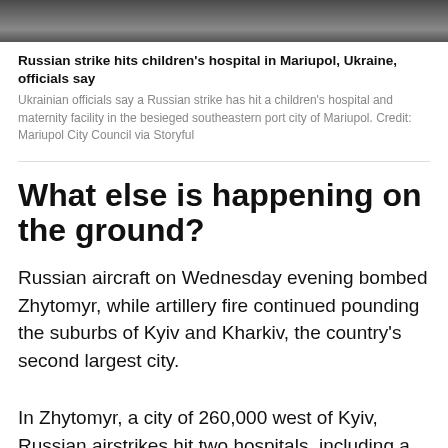[Figure (photo): Photograph showing rubble or debris, partially visible at top of page]
Russian strike hits children's hospital in Mariupol, Ukraine, officials say
Ukrainian officials say a Russian strike has hit a children's hospital and maternity facility in the besieged southeastern port city of Mariupol. Credit: Mariupol City Council via Storyful
What else is happening on the ground?
Russian aircraft on Wednesday evening bombed Zhytomyr, while artillery fire continued pounding the suburbs of Kyiv and Kharkiv, the country's second largest city.
In Zhytomyr, a city of 260,000 west of Kyiv, Russian airstrikes hit two hospitals, including a children's hospital, Mayor Serhii Sukhomlyn said on Facebook. He